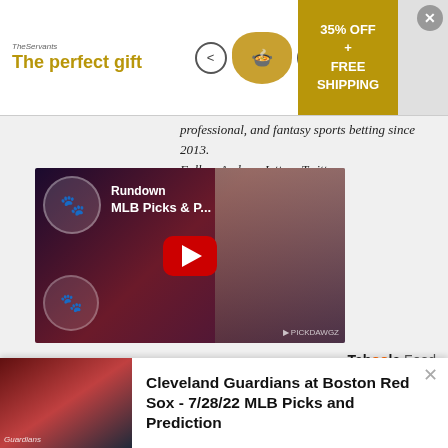[Figure (screenshot): Advertisement banner: 'The perfect gift' with food bowl imagery and '35% OFF + FREE SHIPPING' offer]
professional, and fantasy sports betting since 2013.
Follow Andrew Jett on Twitter @PickDawgzAndrew
[Figure (screenshot): YouTube video thumbnail: MLB Picks & P... Rundown video with play button]
Tab00la Feed
[Figure (photo): Background photo of a woman, with overlay card showing Cleveland Guardians at Boston Red Sox - 7/28/22 MLB Picks and Prediction]
Cleveland Guardians at Boston Red Sox - 7/28/22 MLB Picks and Prediction